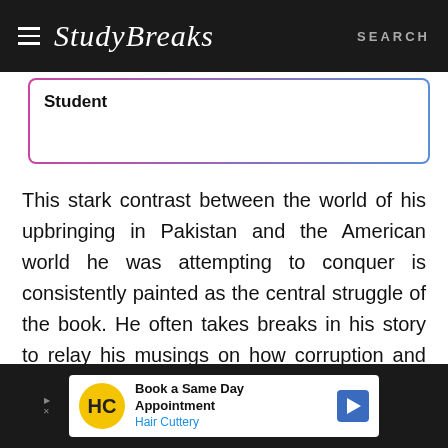Study Breaks  SEARCH
Student
This stark contrast between the world of his upbringing in Pakistan and the American world he was attempting to conquer is consistently painted as the central struggle of the book. He often takes breaks in his story to relay his musings on how corruption and bribery reigned free in his homeland. He mentions that “Now our cities were largely unplanned, unsanitary
[Figure (other): Advertisement banner: Hair Cuttery - Book a Same Day Appointment]